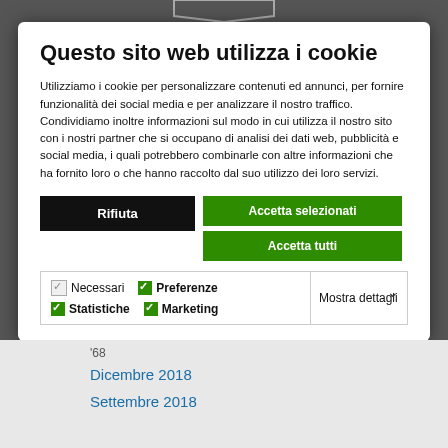Questo sito web utilizza i cookie
Utilizziamo i cookie per personalizzare contenuti ed annunci, per fornire funzionalità dei social media e per analizzare il nostro traffico. Condividiamo inoltre informazioni sul modo in cui utilizza il nostro sito con i nostri partner che si occupano di analisi dei dati web, pubblicità e social media, i quali potrebbero combinarle con altre informazioni che ha fornito loro o che hanno raccolto dal suo utilizzo dei loro servizi.
Rifiuta | Accetta selezionati | Accetta tutti
Necessari  Preferenze  Statistiche  Marketing  Mostra dettagli
'68
Dicembre 2018
Settembre 2018